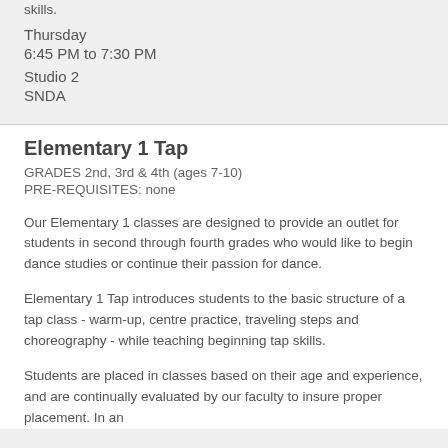skills.
Thursday
6:45 PM to 7:30 PM
Studio 2
SNDA
Elementary 1 Tap
GRADES 2nd, 3rd & 4th (ages 7-10)
PRE-REQUISITES: none
Our Elementary 1 classes are designed to provide an outlet for students in second through fourth grades who would like to begin dance studies or continue their passion for dance.
Elementary 1 Tap introduces students to the basic structure of a tap class - warm-up, centre practice, traveling steps and choreography - while teaching beginning tap skills.
Students are placed in classes based on their age and experience, and are continually evaluated by our faculty to insure proper placement. In an